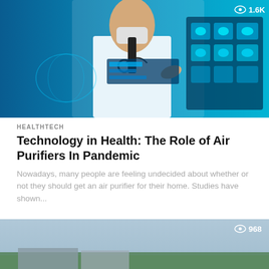[Figure (photo): Doctor in white coat with stethoscope interacting with a futuristic digital medical interface showing brain scans and patient data on a blue holographic screen. View count badge showing 1.6K in top right.]
HEALTHTECH
Technology in Health: The Role of Air Purifiers In Pandemic
Nowadays, many people are feeling undecided about whether or not they should get an air purifier for their home. Studies have shown...
[Figure (photo): Aerial view of a large modern industrial warehouse or logistics facility with trucks parked outside, surrounded by trees. View count badge showing 968 in top right.]